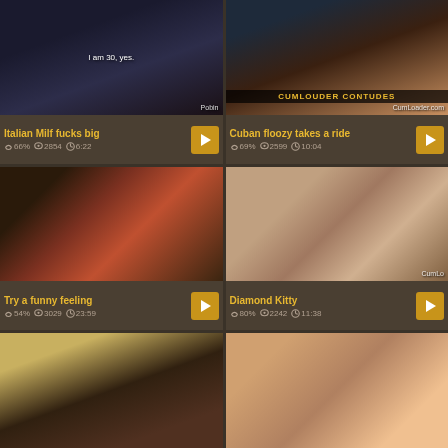[Figure (screenshot): Video thumbnail 1 - Italian Milf video still with text overlay 'I am 30, yes.' and 'Pobin' watermark]
Italian Milf fucks big | 66% | 2854 views | 6:22
[Figure (screenshot): Video thumbnail 2 - Cuban floozy video still with CumLoader.com watermark and CUMLOUDER banner]
Cuban floozy takes a ride | 69% | 2599 views | 10:04
[Figure (screenshot): Video thumbnail 3 - Try a funny feeling video still showing woman in red dress]
Try a funny feeling | 54% | 3029 views | 23:59
[Figure (screenshot): Video thumbnail 4 - Diamond Kitty video still with CumLo watermark]
Diamond Kitty | 80% | 2242 views | 11:38
[Figure (screenshot): Video thumbnail 5 - Blonde woman in black outfit]
[Figure (screenshot): Video thumbnail 6 - Dark haired woman]